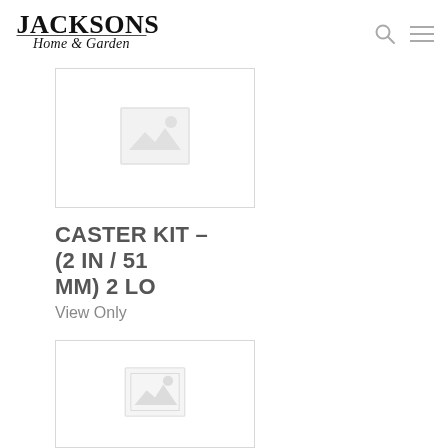Jacksons Home & Garden
[Figure (photo): Product placeholder image (no photo available) — top card, partially cropped]
CASTER KIT – (2 IN / 51 MM) 2 LO
View Only
[Figure (photo): Product placeholder image (no photo available) — bottom card]